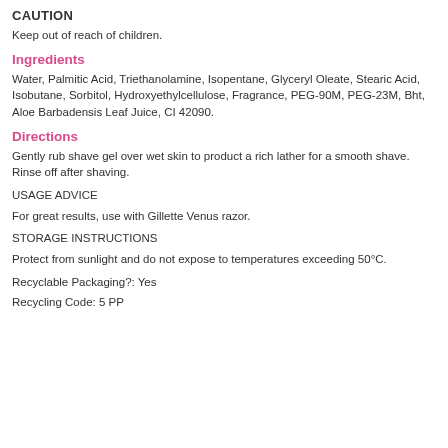CAUTION
Keep out of reach of children.
Ingredients
Water, Palmitic Acid, Triethanolamine, Isopentane, Glyceryl Oleate, Stearic Acid, Isobutane, Sorbitol, Hydroxyethylcellulose, Fragrance, PEG-90M, PEG-23M, Bht, Aloe Barbadensis Leaf Juice, CI 42090.
Directions
Gently rub shave gel over wet skin to product a rich lather for a smooth shave. Rinse off after shaving.
USAGE ADVICE
For great results, use with Gillette Venus razor.
STORAGE INSTRUCTIONS
Protect from sunlight and do not expose to temperatures exceeding 50°C.
Recyclable Packaging?: Yes
Recycling Code: 5 PP